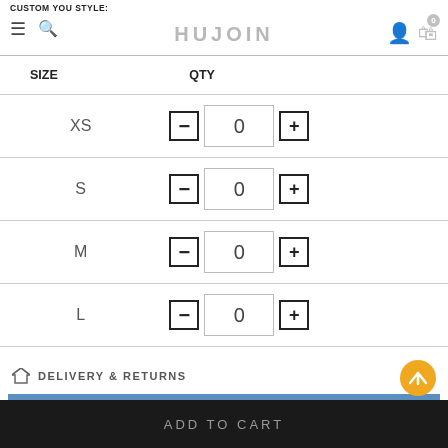CUSTOM YOU STYLE: HUJOIN
| SIZE | QTY |
| --- | --- |
| XS | 0 |
| S | 0 |
| M | 0 |
| L | 0 |
✈ DELIVERY & RETURNS
Custom Your Own Brand Labels
ADD TO CART